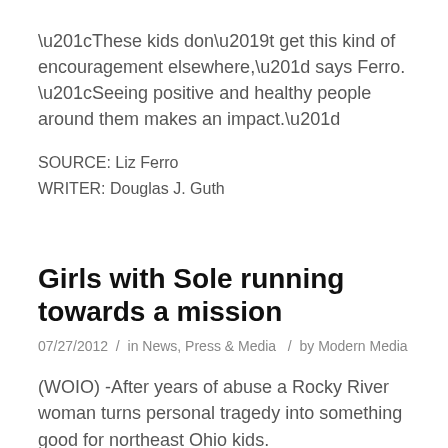“These kids don’t get this kind of encouragement elsewhere,” says Ferro. “Seeing positive and healthy people around them makes an impact.”
SOURCE: Liz Ferro
WRITER: Douglas J. Guth
Girls with Sole running towards a mission
07/27/2012 / in News, Press & Media / by Modern Media
(WOIO) -After years of abuse a Rocky River woman turns personal tragedy into something good for northeast Ohio kids.
43-year-old Liz Ferro is like a little ray of sunshine.